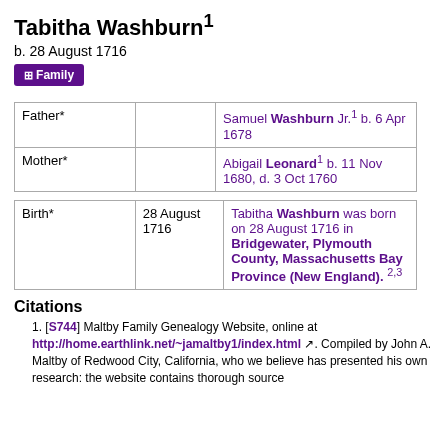Tabitha Washburn¹
b. 28 August 1716
Family
|  |  |  |
| --- | --- | --- |
| Father* |  | Samuel Washburn Jr.¹ b. 6 Apr 1678 |
| Mother* |  | Abigail Leonard¹ b. 11 Nov 1680, d. 3 Oct 1760 |
|  |  |  |
| --- | --- | --- |
| Birth* | 28 August 1716 | Tabitha Washburn was born on 28 August 1716 in Bridgewater, Plymouth County, Massachusetts Bay Province (New England). 2,3 |
Citations
[S744] Maltby Family Genealogy Website, online at http://home.earthlink.net/~jamaltby1/index.html. Compiled by John A. Maltby of Redwood City, California, who we believe has presented his own research: the website contains thorough source